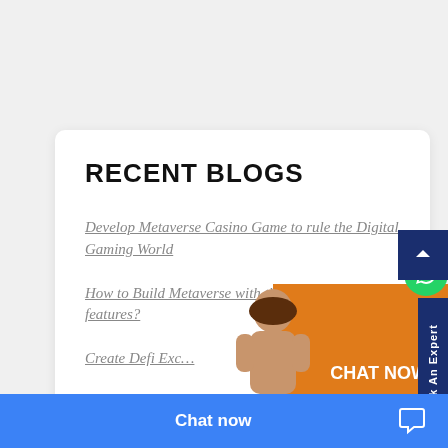RECENT BLOGS
Develop Metaverse Casino Game to rule the Digital Gaming World
How to Build Metaverse with the best and latest features?
Create Defi Exc…
[Figure (screenshot): Orange chat widget with 'CHAT NOW!' text and a female avatar, plus a blue 'Chat now' bar at the bottom with a speech bubble icon. Also visible: a green WhatsApp circle button, a dark blue scroll-up arrow button, and an 'Ask An Expert' vertical tab.]